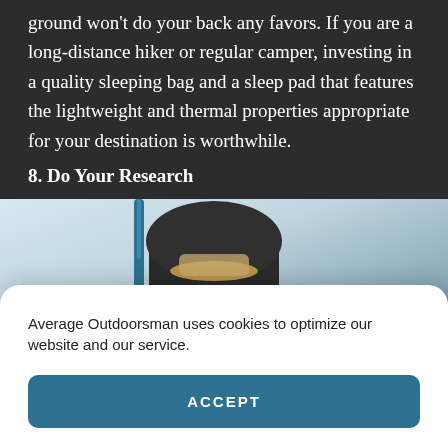ground won't do your back any favors. If you are a long-distance hiker or regular camper, investing in a quality sleeping bag and a sleep pad that features the lightweight and thermal properties appropriate for your destination is worthwhile.
8. Do Your Research
[Figure (photo): Photo of a large hiking backpack with trekking poles, viewed from behind, against a light blue sky with mountains in the background.]
Average Outdoorsman uses cookies to optimize our website and our service.
ACCEPT